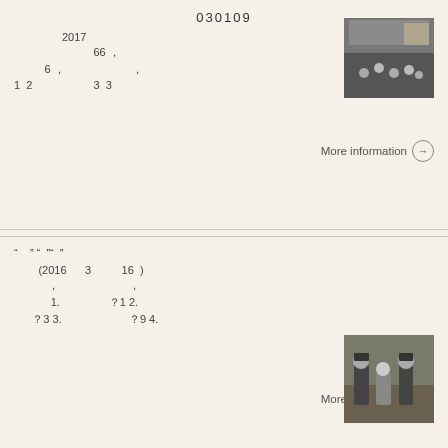030109
2017
66，
6，，
1  2  3  3
[Figure (photo): Audience in a conference or lecture hall]
More information →
" " " " " "
(2016  3  16 )
，，
1. ？1 2.
？3 3. ？9 4.
[Figure (photo): Courtroom scene with uniformed officers and defendant]
More information →
□□□□□□□□□□□□□□
2002 1. 2. 8800 4000 1000 3. 20000 500 4.
[Figure (photo): Small thumbnail photo]